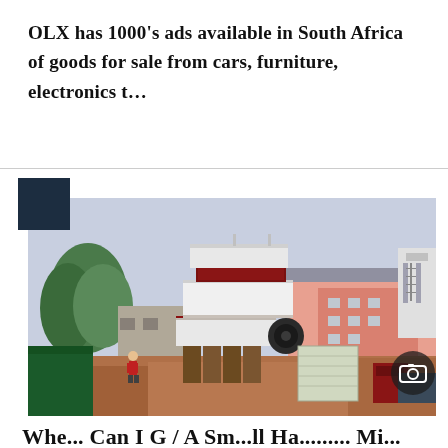OLX has 1000's ads available in South Africa of goods for sale from cars, furniture, electronics t...
[Figure (photo): Industrial hammer mill / impact crusher machine (white and red) on a construction site with buildings and trees visible in background. A person in red is standing nearby. Various equipment and wrapped machinery visible.]
Whe... Can I G / A Sm...ll Ha......... Mi...